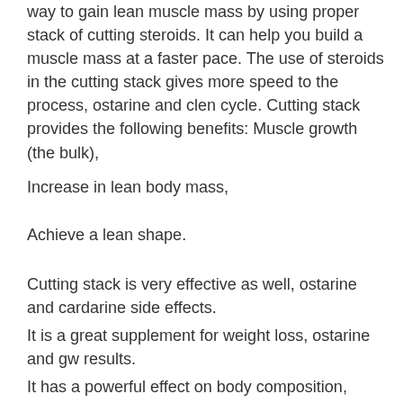way to gain lean muscle mass by using proper stack of cutting steroids. It can help you build a muscle mass at a faster pace. The use of steroids in the cutting stack gives more speed to the process, ostarine and clen cycle. Cutting stack provides the following benefits: Muscle growth (the bulk),
Increase in lean body mass,
Achieve a lean shape.
Cutting stack is very effective as well, ostarine and cardarine side effects.
It is a great supplement for weight loss, ostarine and gw results.
It has a powerful effect on body composition,
And is easy to use.